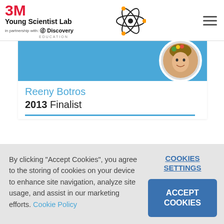3M Young Scientist Lab — in partnership with Discovery Education
[Figure (screenshot): 3M Young Scientist Lab website card showing Reeny Botros, 2013 Finalist, with a blue banner, circular photo badge, and a teal divider line.]
Reeny Botros
2013 Finalist
By clicking "Accept Cookies", you agree to the storing of cookies on your device to enhance site navigation, analyze site usage, and assist in our marketing efforts. Cookie Policy
COOKIES SETTINGS
ACCEPT COOKIES